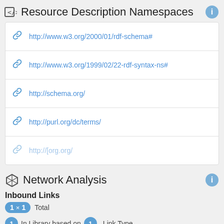Resource Description Namespaces
http://www.w3.org/2000/01/rdf-schema#
http://www.w3.org/1999/02/22-rdf-syntax-ns#
http://schema.org/
http://purl.org/dc/terms/
http://[partially visible]
Network Analysis
Inbound Links
1 × 1 Total
1 In Library based on 1 Link Type
Outbound Links
13 × 6 Total
10 To Library based on 5 Link Types
2 To Web based on 1 Link Type